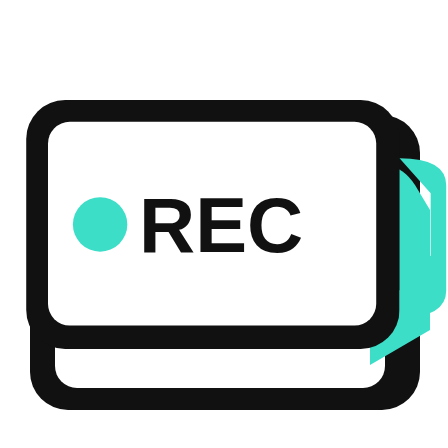[Figure (logo): Video camera icon with black body, white screen area showing a teal dot and bold black 'REC' text, and a teal triangular viewfinder on the right side pointing right.]